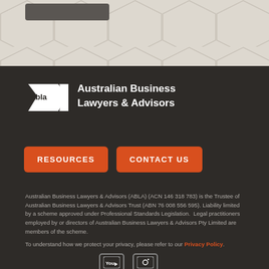[Figure (other): Top decorative section with geometric hexagon pattern in beige/tan color with a dark button partially visible at the top left]
[Figure (logo): ABLA - Australian Business Lawyers & Advisors logo, white on dark background]
RESOURCES
CONTACT US
Australian Business Lawyers & Advisors (ABLA) (ACN 146 318 783) is the Trustee of Australian Business Lawyers & Advisors Trust (ABN 76 008 556 595). Liability limited by a scheme approved under Professional Standards Legislation. Legal practitioners employed by or directors of Australian Business Lawyers & Advisors Pty Limited are members of the scheme.
To understand how we protect your privacy, please refer to our Privacy Policy.
[Figure (other): Social media icons - YouTube and another platform icon at bottom]